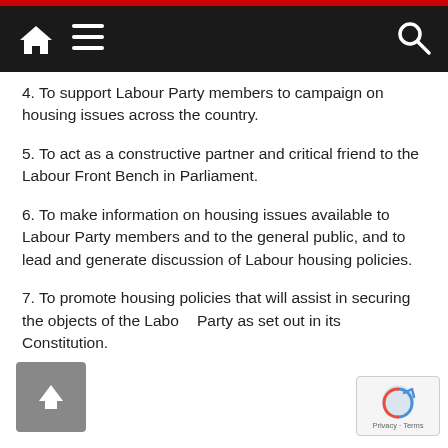Navigation bar with home, menu, and search icons
4. To support Labour Party members to campaign on housing issues across the country.
5. To act as a constructive partner and critical friend to the Labour Front Bench in Parliament.
6. To make information on housing issues available to Labour Party members and to the general public, and to lead and generate discussion of Labour housing policies.
7. To promote housing policies that will assist in securing the objects of the Labour Party as set out in its Constitution.